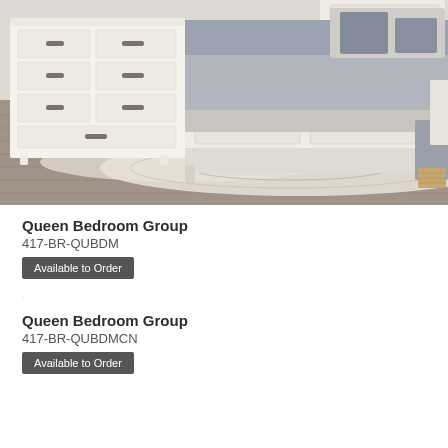[Figure (photo): Photo of a white bedroom furniture set including a dresser with multiple drawers and a queen bed with white wooden headboard and footboard, styled with gray and blue bedding, on a gray wood floor with a light area rug.]
Queen Bedroom Group
417-BR-QUBDM
Available to Order
Queen Bedroom Group
417-BR-QUBDMCN
Available to Order